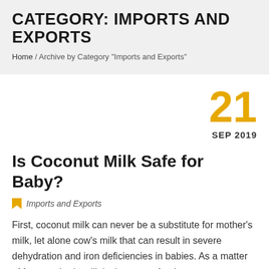CATEGORY: IMPORTS AND EXPORTS
Home / Archive by Category "Imports and Exports"
21
SEP 2019
Is Coconut Milk Safe for Baby?
Imports and Exports
First, coconut milk can never be a substitute for mother's milk, let alone cow's milk that can result in severe dehydration and iron deficiencies in babies. As a matter of fact, mother's milk is the purest food